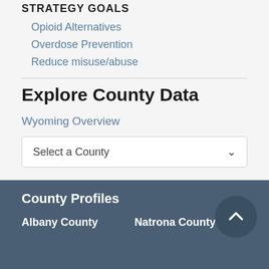STRATEGY GOALS
Opioid Alternatives
Overdose Prevention
Reduce misuse/abuse
Explore County Data
Wyoming Overview
Select a County
County Profiles
Albany County
Natrona County